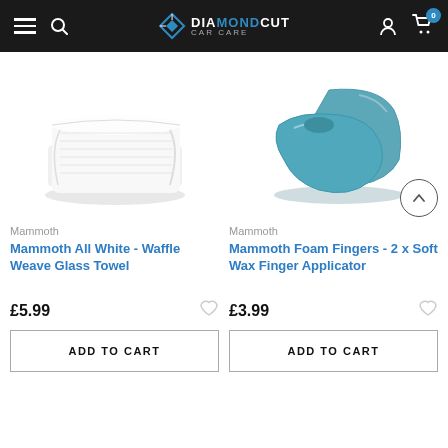DiamondCut Car Care
[Figure (photo): Folded white waffle weave glass towel]
[Figure (photo): Teal/blue foam finger applicator pads]
Mammoth
Mammoth
Mammoth All White - Waffle Weave Glass Towel
Mammoth Foam Fingers - 2 x Soft Wax Finger Applicator
£5.99
£3.99
ADD TO CART
ADD TO CART